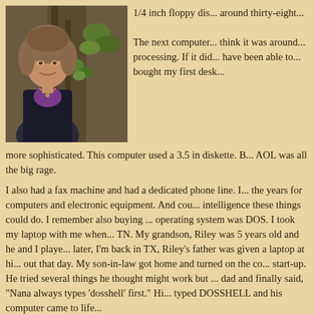[Figure (photo): Portrait photo of a woman smiling, standing in front of a large tree trunk with ivy leaves, wearing a dark jacket and purple top with a necklace.]
1/4 inch floppy di... around thirty-eigh...
The next compute... think it was aroun... processing. If it di... have been able to... bought my first de... more sophisticated. This computer used a 3.5 in diskette. B... AOL was all the big rage.
I also had a fax machine and had a dedicated phone line. I... the years for computers and electronic equipment. And cou... intelligence these things could do. I remember also buying ... operating system was DOS. I took my laptop with me when... TN. My grandson, Riley was 5 years old and he and I playe... later, I'm back in TX, Riley's father was given a laptop at hi... out that day. My son-in-law got home and turned on the co... start-up. He tried several things he thought might work but ... dad and finally said, "Nana always types 'dosshell' first." Hi... typed DOSSHELL and his computer came to life...